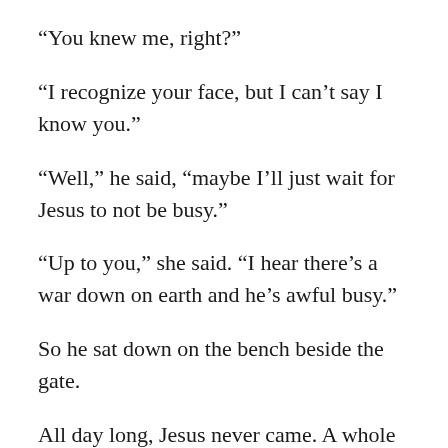“You knew me, right?”
“I recognize your face, but I can’t say I know you.”
“Well,” he said, “maybe I’ll just wait for Jesus to not be busy.”
“Up to you,” she said. “I hear there’s a war down on earth and he’s awful busy.”
So he sat down on the bench beside the gate.
All day long, Jesus never came. A whole bunch of other people came by, though. People who had been hurt by war and famine and disease